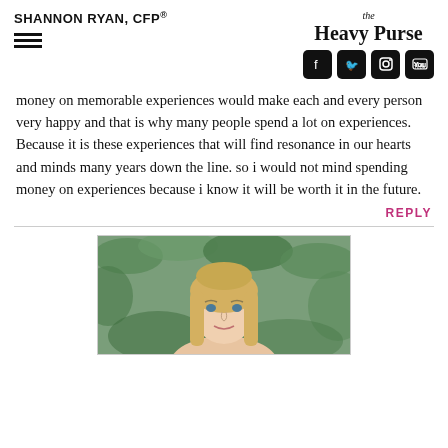SHANNON RYAN, CFP®
[Figure (logo): The Heavy Purse logo with social media icons (Facebook, Twitter, Instagram, YouTube)]
money on memorable experiences would make each and every person very happy and that is why many people spend a lot on experiences. Because it is these experiences that will find resonance in our hearts and minds many years down the line. so i would not mind spending money on experiences because i know it will be worth it in the future.
REPLY
[Figure (photo): Portrait photo of a blonde woman (Shannon Ryan) against a green leafy background]